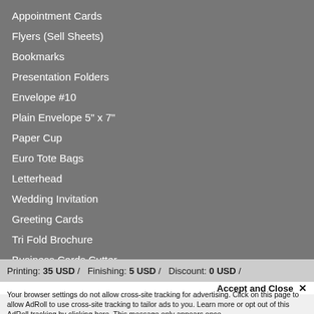Appointment Cards
Flyers (Sell Sheets)
Bookmarks
Presentation Folders
Envelope #10
Plain Envelope 5" x 7"
Paper Cup
Euro Tote Bags
Letterhead
Wedding Invitation
Greeting Cards
Tri Fold Brochure
Business Cards Cutter
Vinyl Banner
X Banner
Printing: 35 USD /   Finishing: 5 USD /   Discount: 0 USD /
Accept and Close ✕
Your browser settings do not allow cross-site tracking for advertising. Click on this page to allow AdRoll to use cross-site tracking to tailor ads to you. Learn more or opt out of this AdRoll tracking by clicking here. This message only appears once.